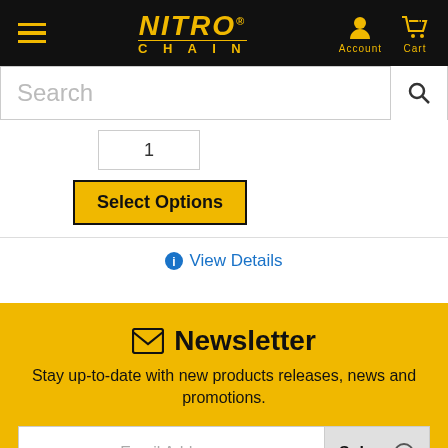[Figure (screenshot): Nitro Chain website header with hamburger menu, logo, account and cart icons on black background]
Search
1
Select Options
View Details
Newsletter
Stay up-to-date with new products releases, news and promotions.
Email Address
Subsc